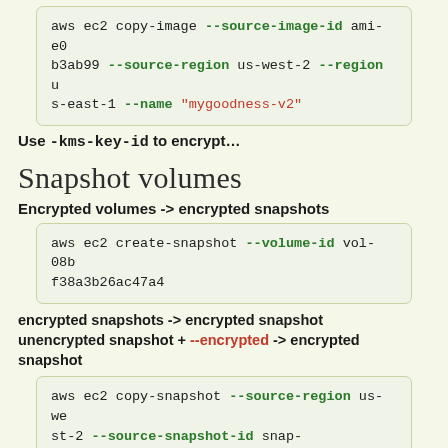aws ec2 copy-image --source-image-id ami-e0b3ab99 --source-region us-west-2 --region us-east-1 --name "mygoodness-v2"
Use -kms-key-id to encrypt...
Snapshot volumes
Encrypted volumes -> encrypted snapshots
aws ec2 create-snapshot --volume-id vol-08bf38a3b26ac47a4
encrypted snapshots -> encrypted snapshot
unencrypted snapshot + --encrypted -> encrypted snapshot
aws ec2 copy-snapshot --source-region us-west-2 --source-snapshot-id snap-066877671789bd71b --description "This is my copied snapshot" --region us-east-1